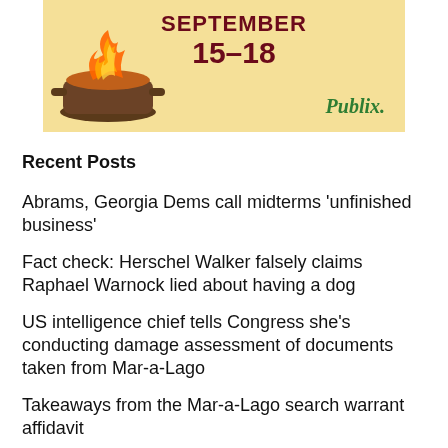[Figure (other): Advertisement banner for Publix with text 'SEPTEMBER 15-18' in dark red bold font on a yellow/cream background with a fire cooking image on the left and Publix logo on the right]
Recent Posts
Abrams, Georgia Dems call midterms ‘unfinished business’
Fact check: Herschel Walker falsely claims Raphael Warnock lied about having a dog
US intelligence chief tells Congress she’s conducting damage assessment of documents taken from Mar-a-Lago
Takeaways from the Mar-a-Lago search warrant affidavit